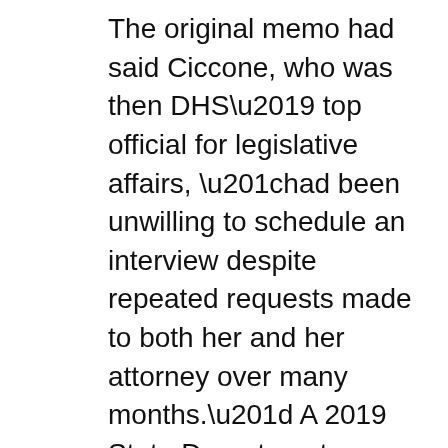The original memo had said Ciccone, who was then DHS’ top official for legislative affairs, “had been unwilling to schedule an interview despite repeated requests made to both her and her attorney over many months.” A 2019 State Department inspector general report also said that Ciccone and a former lawyer had “ignored or affirmatively rebuffed OIG’s repeated requests for an interview for several months” and that the State IG had to enlist the help of DHS’ IG and the intervention of Congress to get Ciccone to cooperate.
But a letter to DHS’ IG and a timeline put together by her lawyer and reviewed by POLITICO suggest that she did try to cooperate soon after she was asked for an interview. The State Department IG first emailed her on Sept. 6, 2018 requesting an